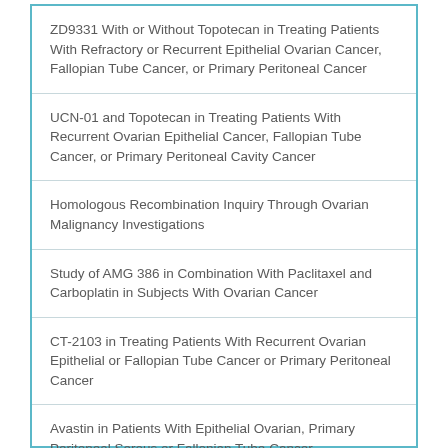ZD9331 With or Without Topotecan in Treating Patients With Refractory or Recurrent Epithelial Ovarian Cancer, Fallopian Tube Cancer, or Primary Peritoneal Cancer
UCN-01 and Topotecan in Treating Patients With Recurrent Ovarian Epithelial Cancer, Fallopian Tube Cancer, or Primary Peritoneal Cavity Cancer
Homologous Recombination Inquiry Through Ovarian Malignancy Investigations
Study of AMG 386 in Combination With Paclitaxel and Carboplatin in Subjects With Ovarian Cancer
CT-2103 in Treating Patients With Recurrent Ovarian Epithelial or Fallopian Tube Cancer or Primary Peritoneal Cancer
Avastin in Patients With Epithelial Ovarian, Primary Peritoneal Serous or Fallopian Tube Cancer
Gene Therapy in Treating Women With Refractory or...